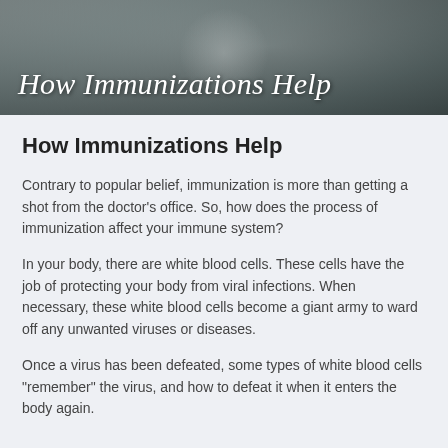[Figure (photo): Header image showing medical professionals (doctors/nurses) with a dark overlay, with italic white serif text reading 'How Immunizations Help']
How Immunizations Help
Contrary to popular belief, immunization is more than getting a shot from the doctor's office. So, how does the process of immunization affect your immune system?
In your body, there are white blood cells. These cells have the job of protecting your body from viral infections. When necessary, these white blood cells become a giant army to ward off any unwanted viruses or diseases.
Once a virus has been defeated, some types of white blood cells "remember" the virus, and how to defeat it when it enters the body again.